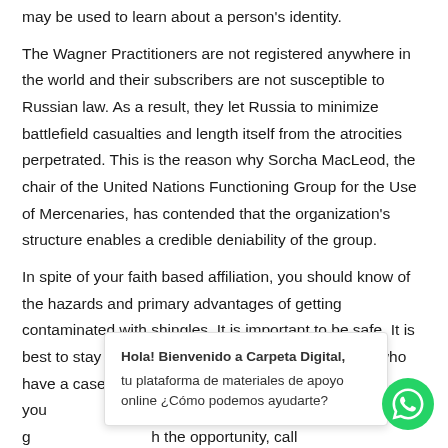may be used to learn about a person's identity.
The Wagner Practitioners are not registered anywhere in the world and their subscribers are not susceptible to Russian law. As a result, they let Russia to minimize battlefield casualties and length itself from the atrocities perpetrated. This is the reason why Sorcha MacLeod, the chair of the United Nations Functioning Group for the Use of Mercenaries, has contended that the organization's structure enables a credible deniability of the group.
In spite of your faith based affiliation, you should know of the hazards and primary advantages of getting contaminated with shingles. It is important to be safe. It is best to stay one colocar away from others for those who have a case. Additionally , it is important to scrub you shingles, you should consider g h the opportunity, call yo
Hola! Bienvenido a Carpeta Digital, tu plataforma de materiales de apoyo online ¿Cómo podemos ayudarte?